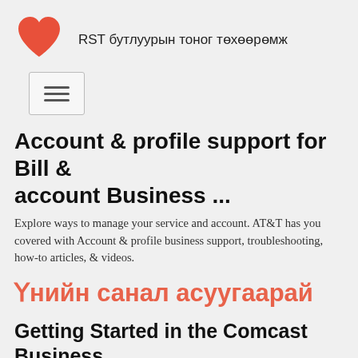RST бутлуурын тоног төхөөрөмж
[Figure (logo): Red heart logo icon]
[Figure (other): Hamburger menu button with three horizontal lines]
Account & profile support for Bill & account Business ...
Explore ways to manage your service and account. AT&T has you covered with Account & profile business support, troubleshooting, how-to articles, & videos.
Үнийн санал асуугаарай
Getting Started in the Comcast Business Support Community
2019-9-19  ·  Before you do anything else, we always recommend